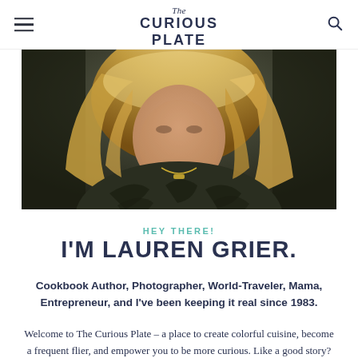The Curious Plate
[Figure (photo): Portrait photo of Lauren Grier, a woman with long blonde hair wearing a dark zebra-print top, photographed against a dark background]
HEY THERE!
I'M LAUREN GRIER.
Cookbook Author, Photographer, World-Traveler, Mama, Entrepreneur, and I've been keeping it real since 1983.
Welcome to The Curious Plate – a place to create colorful cuisine, become a frequent flier, and empower you to be more curious. Like a good story? I've got a